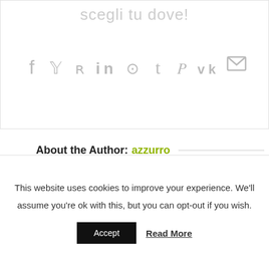scegli tu dove!
[Figure (infographic): Social media sharing icons: Facebook, Twitter, Reddit, LinkedIn, WhatsApp, Tumblr, Pinterest, VK, Email]
About the Author: azzurro
[Figure (illustration): Generic grey user avatar circle with person silhouette]
This website uses cookies to improve your experience. We'll assume you're ok with this, but you can opt-out if you wish.
Accept  Read More